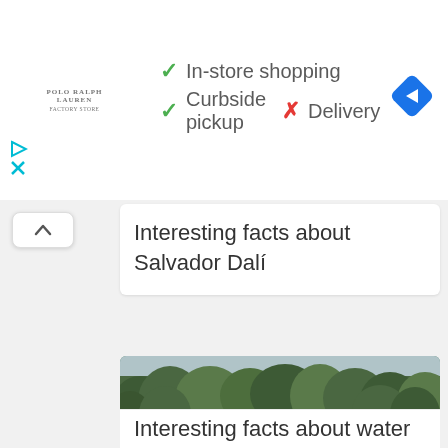[Figure (logo): Polo Ralph Lauren logo text]
✓ In-store shopping
✓ Curbside pickup  ✗ Delivery
[Figure (logo): Blue diamond navigation icon]
[Figure (other): Navigation UI: upward caret button]
Interesting facts about Salvador Dalí
[Figure (photo): Aerial photo of a speedboat creating a wake on a wide calm river surrounded by dense green forest. Caption: Photo source: wallpaper...]
Interesting facts about water